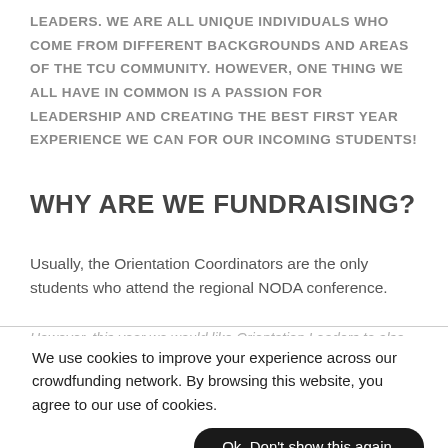LEADERS. WE ARE ALL UNIQUE INDIVIDUALS WHO COME FROM DIFFERENT BACKGROUNDS AND AREAS OF THE TCU COMMUNITY. HOWEVER, ONE THING WE ALL HAVE IN COMMON IS A PASSION FOR LEADERSHIP AND CREATING THE BEST FIRST YEAR EXPERIENCE WE CAN FOR OUR INCOMING STUDENTS!
WHY ARE WE FUNDRAISING?
Usually, the Orientation Coordinators are the only students who attend the regional NODA conference.
However, this year we would like Orientation Leaders to also attend the conference so our whole team can benefit from the workshops and sessions offered, creating a stronger first year experience for our incoming Frogs.
We use cookies to improve your experience across our crowdfunding network. By browsing this website, you agree to our use of cookies.
Ok. Don't show this again.